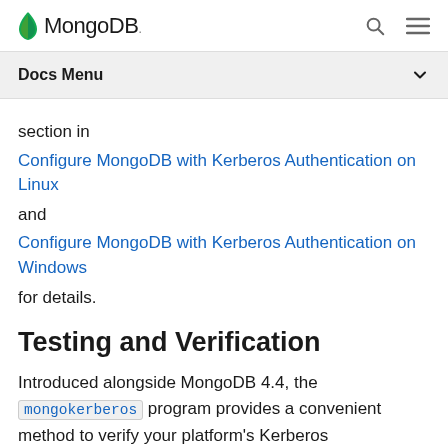MongoDB
Docs Menu
section in
Configure MongoDB with Kerberos Authentication on Linux
and
Configure MongoDB with Kerberos Authentication on Windows
for details.
Testing and Verification
Introduced alongside MongoDB 4.4, the mongokerberos program provides a convenient method to verify your platform's Kerberos configuration for use with MongoDB, and to test that Kerberos authentication from